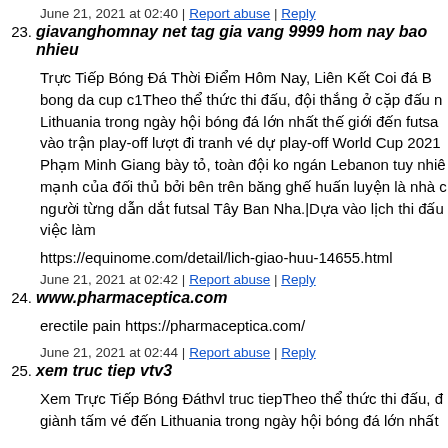June 21, 2021 at 02:40 | Report abuse | Reply
23. giavanghomnay net tag gia vang 9999 hom nay bao nhieu
Trực Tiếp Bóng Đá Thời Điểm Hôm Nay, Liên Kết Coi đá B bong da cup c1Theo thể thức thi đấu, đội thắng ở cặp đấu n Lithuania trong ngày hội bóng đá lớn nhất thế giới đến futsa vào trận play-off lượt đi tranh vé dự play-off World Cup 2021 Phạm Minh Giang bày tỏ, toàn đội ko ngán Lebanon tuy nhiê mạnh của đối thủ bởi bên trên băng ghế huấn luyện là nhà c người từng dẫn dắt futsal Tây Ban Nha.|Dựa vào lịch thi đấu việc làm
https://equinome.com/detail/lich-giao-huu-14655.html
June 21, 2021 at 02:42 | Report abuse | Reply
24. www.pharmaceptica.com
erectile pain https://pharmaceptica.com/
June 21, 2021 at 02:44 | Report abuse | Reply
25. xem truc tiep vtv3
Xem Trực Tiếp Bóng Đáthvl truc tiepTheo thể thức thi đấu, đ giành tấm vé đến Lithuania trong ngày hội bóng đá lớn nhất